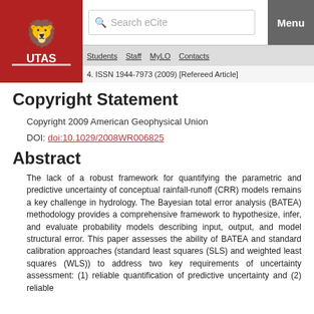[Figure (logo): University of Tasmania (UTAS) logo with lion crest on red background]
Search eCite | Menu | Students | Staff | MyLO | Contacts
4. ISSN 1944-7973 (2009) [Refereed Article]
Copyright Statement
Copyright 2009 American Geophysical Union
DOI: doi:10.1029/2008WR006825
Abstract
The lack of a robust framework for quantifying the parametric and predictive uncertainty of conceptual rainfall-runoff (CRR) models remains a key challenge in hydrology. The Bayesian total error analysis (BATEA) methodology provides a comprehensive framework to hypothesize, infer, and evaluate probability models describing input, output, and model structural error. This paper assesses the ability of BATEA and standard calibration approaches (standard least squares (SLS) and weighted least squares (WLS)) to address two key requirements of uncertainty assessment: (1) reliable quantification of predictive uncertainty and (2) reliable